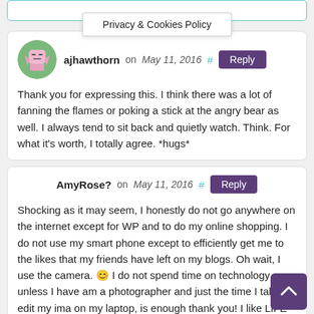Privacy & Cookies Policy
ajhawthorn on May 11, 2016
Thank you for expressing this. I think there was a lot of fanning the flames or poking a stick at the angry bear as well. I always tend to sit back and quietly watch. Think. For what it's worth, I totally agree. *hugs*
AmyRose? on May 11, 2016
Shocking as it may seem, I honestly do not go anywhere on the internet except for WP and to do my online shopping. I do not use my smart phone except to efficiently get me to the likes that my friends have left on my blogs. Oh wait, I use the camera. 😊 I do not spend time on technology unless I have am a photographer and just the time I take to edit my ima on my laptop, is enough thank you! I like LIFE and that is